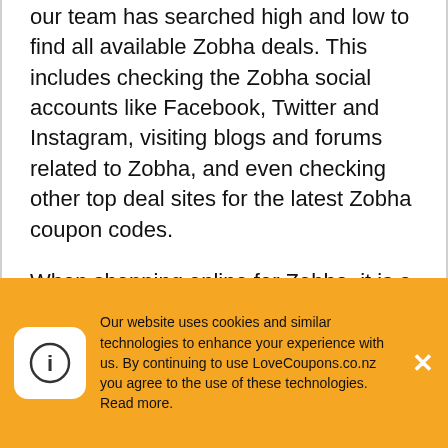our team has searched high and low to find all available Zobha deals. This includes checking the Zobha social accounts like Facebook, Twitter and Instagram, visiting blogs and forums related to Zobha, and even checking other top deal sites for the latest Zobha coupon codes.
When shopping online for Zobha, it is a good idea to always visit us here at LoveCoupons.co.nz before you finish your order. The LoveCoupons.co.nz team save our visitors thousands of dollars every month, many of which never knew Zobha discount codes were available until visiting our site.
Our website uses cookies and similar technologies to enhance your experience with us. By continuing to use LoveCoupons.co.nz you agree to the use of these technologies. Read more.